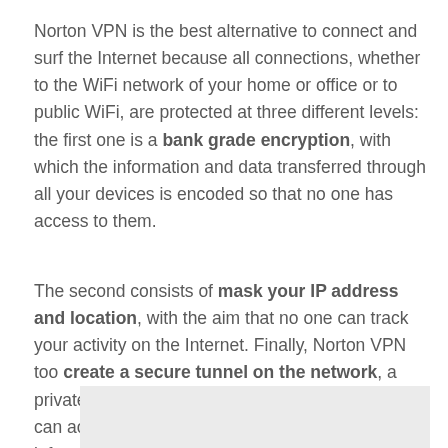Norton VPN is the best alternative to connect and surf the Internet because all connections, whether to the WiFi network of your home or office or to public WiFi, are protected at three different levels: the first one is a bank grade encryption, with which the information and data transferred through all your devices is encoded so that no one has access to them.
The second consists of mask your IP address and location, with the aim that no one can track your activity on the Internet. Finally, Norton VPN too create a secure tunnel on the network, a private gateway in public WiFi networks, so you can access anywhere without risking your personal information.
[Figure (other): Light grey rectangle at the bottom of the page, partially visible]